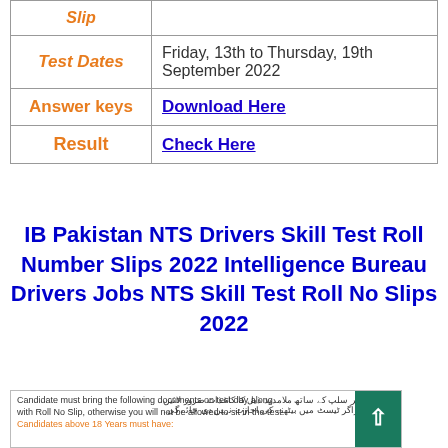| Label | Value |
| --- | --- |
| Slip |  |
| Test Dates | Friday, 13th to Thursday, 19th September 2022 |
| Answer keys | Download Here |
| Result | Check Here |
IB Pakistan NTS Drivers Skill Test Roll Number Slips 2022 Intelligence Bureau Drivers Jobs NTS Skill Test Roll No Slips 2022
[Figure (other): Partial view of an NTS roll number slip document showing text about required documents on test day and Urdu text instructions, with orange highlighted text 'Candidates above 18 Years must have:']